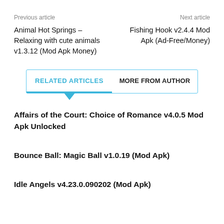Previous article | Next article
Animal Hot Springs – Relaxing with cute animals v1.3.12 (Mod Apk Money)
Fishing Hook v2.4.4 Mod Apk (Ad-Free/Money)
RELATED ARTICLES   MORE FROM AUTHOR
Affairs of the Court: Choice of Romance v4.0.5 Mod Apk Unlocked
Bounce Ball: Magic Ball v1.0.19 (Mod Apk)
Idle Angels v4.23.0.090202 (Mod Apk)